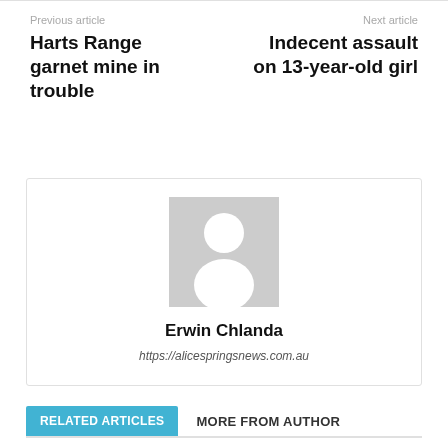Previous article
Harts Range garnet mine in trouble
Next article
Indecent assault on 13-year-old girl
[Figure (photo): Default avatar placeholder — grey square with white silhouette of a person]
Erwin Chlanda
https://alicespringsnews.com.au
RELATED ARTICLES
MORE FROM AUTHOR